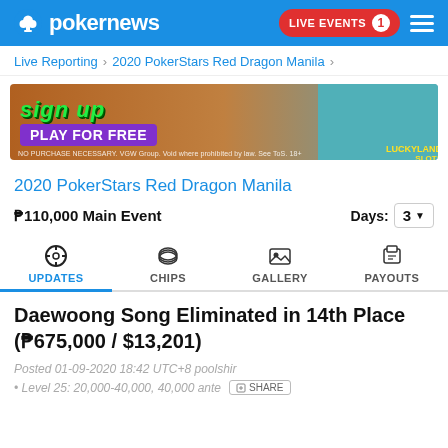pokernews | LIVE EVENTS 1
Live Reporting > 2020 PokerStars Red Dragon Manila >
[Figure (illustration): Advertisement banner for LuckyLand Slots: 'SIGN UP PLAY FOR FREE' with cartoon dragon character. Fine print: NO PURCHASE NECESSARY. VGW Group. Void where prohibited by law. See ToS. 18+]
2020 PokerStars Red Dragon Manila
₱110,000 Main Event    Days: 3
UPDATES  CHIPS  GALLERY  PAYOUTS
Daewoong Song Eliminated in 14th Place (₱675,000 / $13,201)
Posted 01-09-2020 18:42 UTC+8 poolshir
• Level 25: 20,000-40,000, 40,000 ante